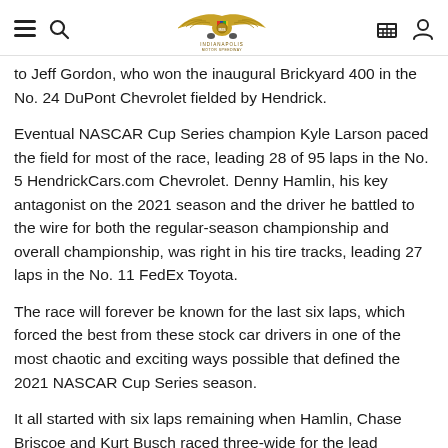[Indianapolis Motor Speedway logo with navigation icons]
to Jeff Gordon, who won the inaugural Brickyard 400 in the No. 24 DuPont Chevrolet fielded by Hendrick.
Eventual NASCAR Cup Series champion Kyle Larson paced the field for most of the race, leading 28 of 95 laps in the No. 5 HendrickCars.com Chevrolet. Denny Hamlin, his key antagonist on the 2021 season and the driver he battled to the wire for both the regular-season championship and overall championship, was right in his tire tracks, leading 27 laps in the No. 11 FedEx Toyota.
The race will forever be known for the last six laps, which forced the best from these stock car drivers in one of the most chaotic and exciting ways possible that defined the 2021 NASCAR Cup Series season.
It all started with six laps remaining when Hamlin, Chase Briscoe and Kurt Busch raced three-wide for the lead heading into Turn 1 on a late-race restart. Four turns later, a 10-car pileup occurred in Turns 5-6 after hitting a curb.
The dramatic incident changed the complexity of the race entirely and amped up the anticipation to win the first